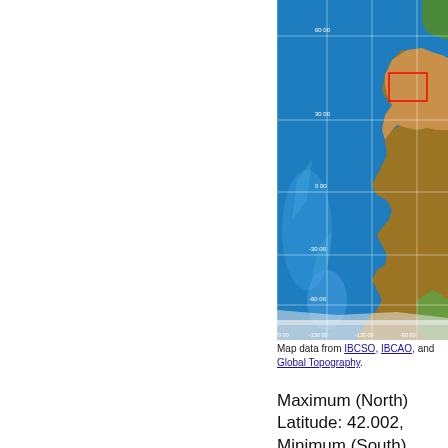[Figure (map): Topographic and bathymetric map of the Pacific Ocean region, showing latitudes from about -70 to 60 and longitudes from about -180 to -80. A red rectangle highlights a region over the southwestern United States (approximately 32-42°N, 113-103°W). Latitude gridlines labeled: 60.00, 30.00, 0.00, -30.00, -60.00. Longitude gridlines labeled: 0.00, -150.00, -120.00, -90.00.]
Map data from IBCSO, IBCAO, and Global Topography.
Maximum (North) Latitude: 42.002, Minimum (South) Latitude: 32.29 Minimum (West) Longitude: -113.466,